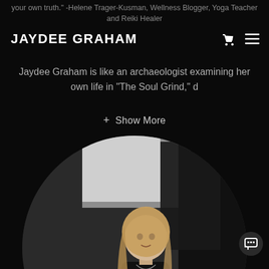your own truth." -Helene Trager-Kusman, Wellness Blogger, Yoga Teacher and Reiki Healer
JAYDEE GRAHAM
Jaydee Graham is like an archaeologist examining her own life in "The Soul Grind," d
+ Show More
[Figure (photo): Black and white circular photo of Jaydee Graham (blonde woman in black shirt) speaking or presenting at an event, with audience members visible in the background. The image is cropped in a circle.]